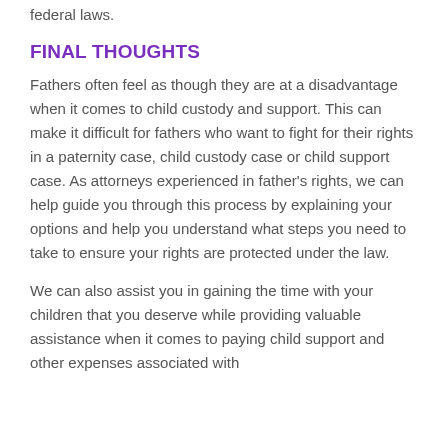federal laws.
FINAL THOUGHTS
Fathers often feel as though they are at a disadvantage when it comes to child custody and support. This can make it difficult for fathers who want to fight for their rights in a paternity case, child custody case or child support case. As attorneys experienced in father's rights, we can help guide you through this process by explaining your options and help you understand what steps you need to take to ensure your rights are protected under the law.
We can also assist you in gaining the time with your children that you deserve while providing valuable assistance when it comes to paying child support and other expenses associated with